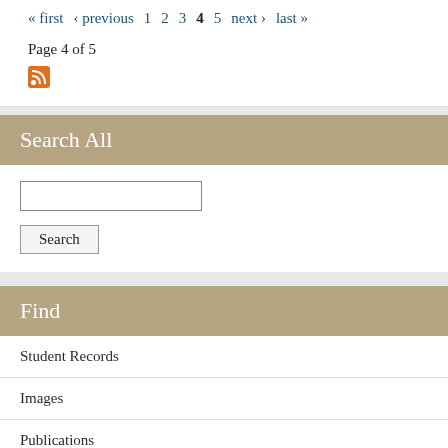« first ‹ previous 1 2 3 4 5 next › last »
Page 4 of 5
Search All
Search
Find
Student Records
Images
Publications